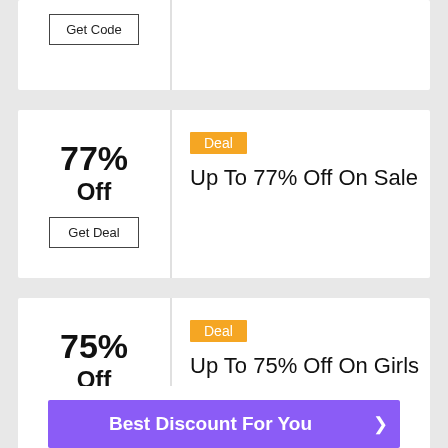Get Code
77% Off
Get Deal
Deal
Up To 77% Off On Sale
75% Off
Get Deal
Deal
Up To 75% Off On Girls Tops Collection
Best Discount For You